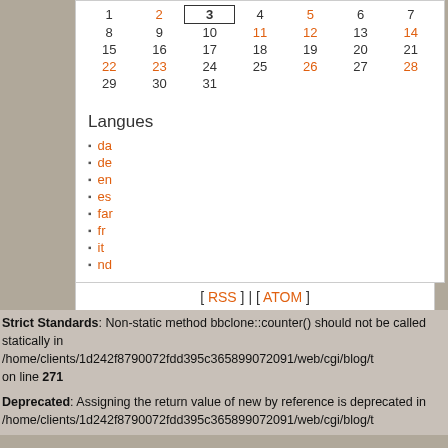| 1 | 2 | 3 | 4 | 5 | 6 | 7 |
| 8 | 9 | 10 | 11 | 12 | 13 | 14 |
| 15 | 16 | 17 | 18 | 19 | 20 | 21 |
| 22 | 23 | 24 | 25 | 26 | 27 | 28 |
| 29 | 30 | 31 |  |  |  |  |
Langues
da
de
en
es
far
fr
it
nd
[ RSS ] | [ ATOM ]
Le blog de ProChoix est propulsée par DotClear.
Accueil | Haut de page | Recherche
Strict Standards: Non-static method bbclone::counter() should not be called statically in /home/clients/1d242f8790072fdd395c365899072091/web/cgi/blog/t on line 271
Deprecated: Assigning the return value of new by reference is deprecated in /home/clients/1d242f8790072fdd395c365899072091/web/cgi/blog/t